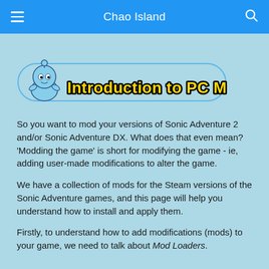Chao Island
[Figure (logo): Introduction to PC Mods logo with a blue Chao character and yellow/black outlined text on a light blue pill-shaped background]
So you want to mod your versions of Sonic Adventure 2 and/or Sonic Adventure DX. What does that even mean? 'Modding the game' is short for modifying the game - ie, adding user-made modifications to alter the game.
We have a collection of mods for the Steam versions of the Sonic Adventure games, and this page will help you understand how to install and apply them.
Firstly, to understand how to add modifications (mods) to your game, we need to talk about Mod Loaders.